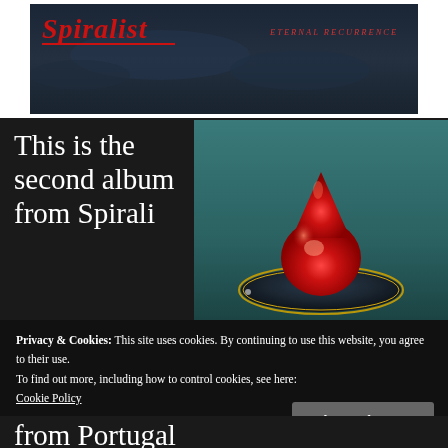[Figure (photo): Dark atmospheric header image showing the Spiralist band logo in red gothic/metal lettering on left, with text 'ETERNAL RECURRENCE' in red on right, against a dark stormy sky background]
This is the second album from Spirali
[Figure (photo): Album cover artwork showing a large red teardrop/blood drop shape floating above a dark oval reflective surface, against a teal/green gradient background]
Privacy & Cookies: This site uses cookies. By continuing to use this website, you agree to their use.
To find out more, including how to control cookies, see here:
Cookie Policy
from Portugal